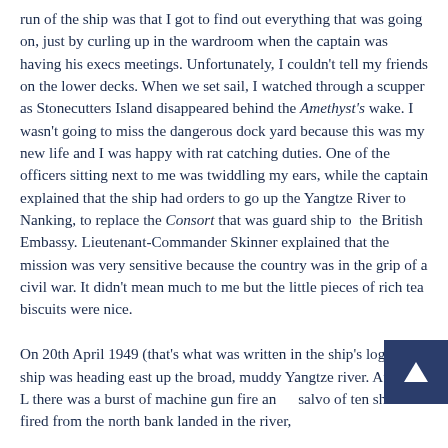run of the ship was that I got to find out everything that was going on, just by curling up in the wardroom when the captain was having his execs meetings. Unfortunately, I couldn't tell my friends on the lower decks. When we set sail, I watched through a scupper as Stonecutters Island disappeared behind the Amethyst's wake. I wasn't going to miss the dangerous dock yard because this was my new life and I was happy with rat catching duties. One of the officers sitting next to me was twiddling my ears, while the captain explained that the ship had orders to go up the Yangtze River to Nanking, to replace the Consort that was guard ship to the British Embassy. Lieutenant-Commander Skinner explained that the mission was very sensitive because the country was in the grip of a civil war. It didn't mean much to me but the little pieces of rich tea biscuits were nice.

On 20th April 1949 (that's what was written in the ship's log), the ship was heading east up the broad, muddy Yangtze river. At 0831 L there was a burst of machine gun fire and a salvo of ten shells fired from the north bank landed in the river,